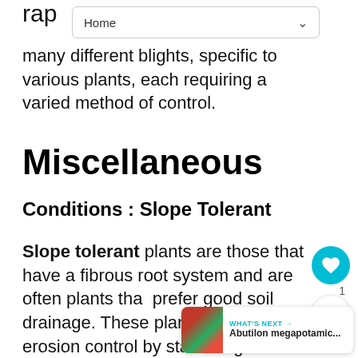Home
many different blights, specific to various plants, each requiring a varied method of control.
Miscellaneous
Conditions : Slope Tolerant
Slope tolerant plants are those that have a fibrous root system and are often plants that prefer good soil drainage. These plants assist in erosion control by stabilizing/holding the soil on slopes intact.